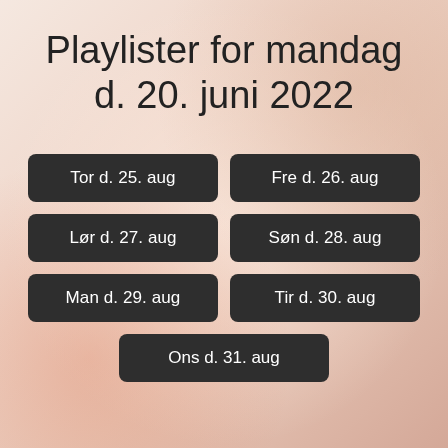Playlister for mandag d. 20. juni 2022
Tor d. 25. aug
Fre d. 26. aug
Lør d. 27. aug
Søn d. 28. aug
Man d. 29. aug
Tir d. 30. aug
Ons d. 31. aug